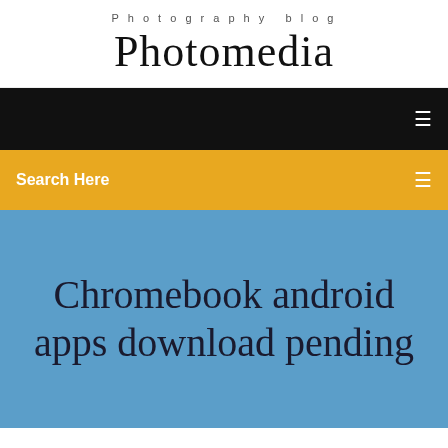Photography blog
Photomedia
Search Here
Chromebook android apps download pending